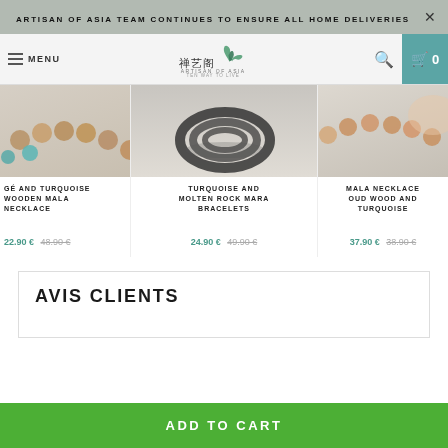ARTISAN OF ASIA TEAM CONTINUES TO ENSURE ALL HOME DELIVERIES
[Figure (screenshot): Navigation bar with hamburger menu, MENU text, Artisan of Asia logo with bird graphic and Chinese characters, search icon, and cart icon showing 0 items]
[Figure (photo): Three product images showing jewelry: partial view of wooden mala necklace with turquoise beads, dark molten rock mara bracelets, and mala necklace with oud wood and turquoise]
GÉ AND TURQUOISE WOODEN MALA NECKLACE
TURQUOISE AND MOLTEN ROCK MARA BRACELETS
MALA NECKLACE OUD WOOD AND TURQUOISE
22.90 € 48.90 €
24.90 € 49.90 €
37.90 € 38.90 €
AVIS CLIENTS
ADD TO CART